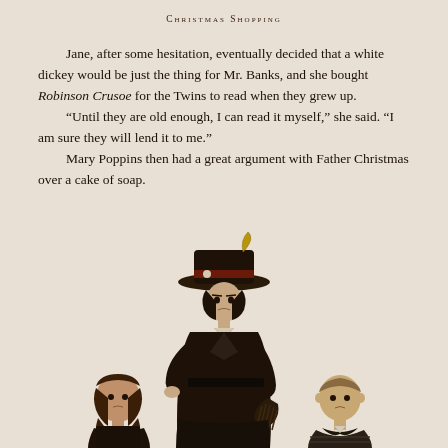Christmas Shopping
Jane, after some hesitation, eventually decided that a white dickey would be just the thing for Mr. Banks, and she bought Robinson Crusoe for the Twins to read when they grew up.
“Until they are old enough, I can read it myself,” she said. “I am sure they will lend it to me.”
Mary Poppins then had a great argument with Father Christmas over a cake of soap.
[Figure (illustration): Illustration of Mary Poppins in a dark coat and hat with feather, standing between two children — a girl with braids on the left and a boy in a cape on the right. Mary Poppins has her hand on her hip and holds a bag. The children look solemn.]